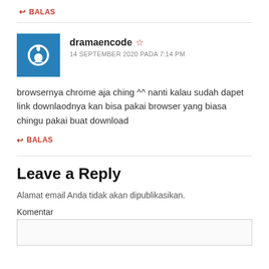↩ BALAS
dramaencode ☆
14 SEPTEMBER 2020 PADA 7:14 PM
browsernya chrome aja ching ^^ nanti kalau sudah dapet link downlaodnya kan bisa pakai browser yang biasa chingu pakai buat download
↩ BALAS
Leave a Reply
Alamat email Anda tidak akan dipublikasikan.
Komentar